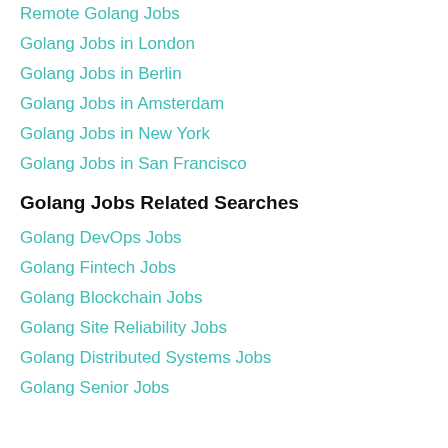Remote Golang Jobs
Golang Jobs in London
Golang Jobs in Berlin
Golang Jobs in Amsterdam
Golang Jobs in New York
Golang Jobs in San Francisco
Golang Jobs Related Searches
Golang DevOps Jobs
Golang Fintech Jobs
Golang Blockchain Jobs
Golang Site Reliability Jobs
Golang Distributed Systems Jobs
Golang Senior Jobs